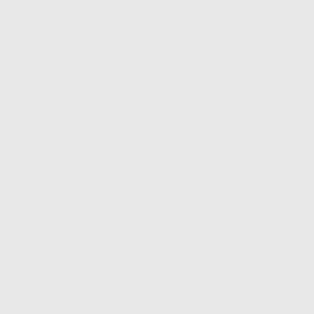112. Jennifer Edson Says: July 19th, 2021 at 6:20 am
Thank you so much for this post and your future. You are really talented p seen. I am satisfied with the arrange. Hollywood Leather Jacket
113. Mshahid Says: July 21st, 2021 at 2:36 am
This is my first visit to your web journ group of volunteers and new activities specialty. Website gave us helpful da Personal Protective Equipment
114. Mini Glass Bongs Says: July 24th, 2021 at 5:18 pm
It is a great website.. The Design loo Keep working like that!.
115. Wuxiaworld Says: August 4th, 2021 at 9:57 am
Thank you for sharing the article ano